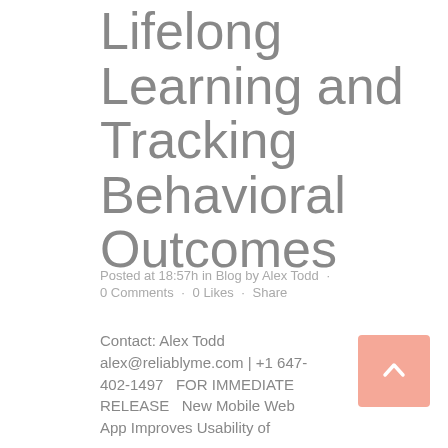Lifelong Learning and Tracking Behavioral Outcomes
Posted at 18:57h in Blog by Alex Todd · 0 Comments · 0 Likes · Share
Contact: Alex Todd alex@reliablyme.com | +1 647-402-1497   FOR IMMEDIATE RELEASE   New Mobile Web App Improves Usability of
[Figure (illustration): Salmon/peach colored back-to-top button with white upward arrow]